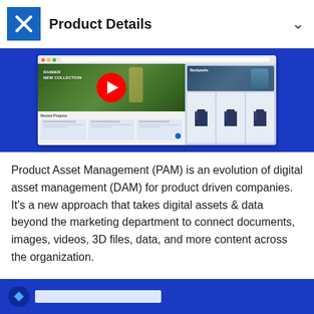Product Details
[Figure (screenshot): Screenshot of a product asset management interface showing a YouTube-style video player with a hiking/outdoor gear collection video, jacket product thumbnails on the right, and a Recent Projects section below. The interface has a blue background with a browser-style window in the center.]
Product Asset Management (PAM) is an evolution of digital asset management (DAM) for product driven companies. It's a new approach that takes digital assets & data beyond the marketing department to connect documents, images, videos, 3D files, data, and more content across the organization.
[Figure (screenshot): Partial view of another screenshot with blue background, partially visible at bottom of page.]